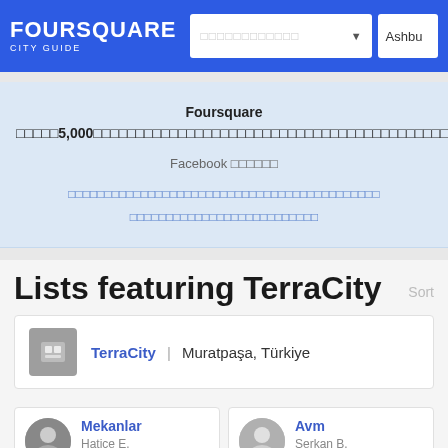FOURSQUARE CITY GUIDE
Foursquare □□□□□5,000□□□□□□□□□□□□□□□□□□□□□□□□□□□□□□□□□□□□□□□□□□□ Facebook □□□□□□ □□□□□□□□□□□□□□□□□□□□□□□□□□□□□□□□□□□□□□□□ □□□□□□□□□□□□□□□□□□□□□□□
Lists featuring TerraCity
TerraCity | Muratpaşa, Türkiye
Mekanlar Hatice E.
Avm Serkan B.